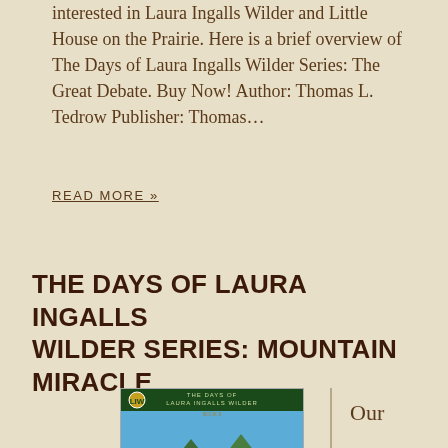interested in Laura Ingalls Wilder and Little House on the Prairie. Here is a brief overview of The Days of Laura Ingalls Wilder Series: The Great Debate. Buy Now! Author: Thomas L. Tedrow Publisher: Thomas...
READ MORE »
THE DAYS OF LAURA INGALLS WILDER SERIES: MOUNTAIN MIRACLE
[Figure (illustration): Book cover of 'Mountain Miracle' from The Days of Laura Ingalls Wilder series. Shows a house in a green landscape with mountains, blue sky. Title reads MOUNTAIN M·I·R·A·C·L·E with series branding at top.]
Our